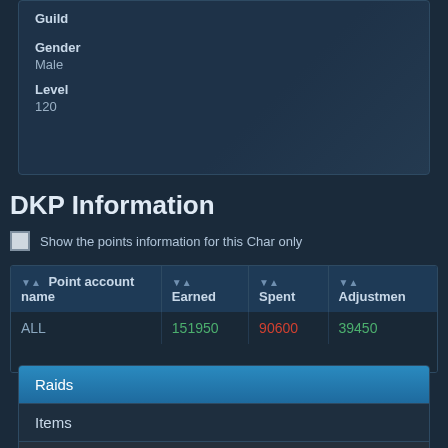Guild
Gender
Male
Level
120
DKP Information
Show the points information for this Char only
| Point account name | Earned | Spent | Adjustmen |
| --- | --- | --- | --- |
| ALL | 151950 | 90600 | 39450 |
Raids
Items
Adjustments